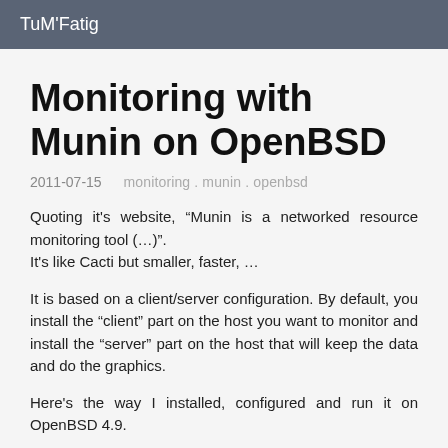TuM'Fatig
Monitoring with Munin on OpenBSD
2011-07-15   monitoring . munin . openbsd
Quoting it's website, “Munin is a networked resource monitoring tool (…)”.
It's like Cacti but smaller, faster, …
It is based on a client/server configuration. By default, you install the “client” part on the host you want to monitor and install the “server” part on the host that will keep the data and do the graphics.
Here's the way I installed, configured and run it on OpenBSD 4.9.
Munin node